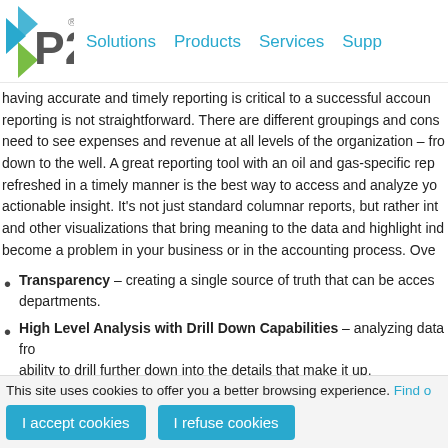[Figure (logo): P2 company logo with teal/green arrow chevron and grey P2 text]
Solutions   Products   Services   Supp
having accurate and timely reporting is critical to a successful accoun reporting is not straightforward. There are different groupings and cons need to see expenses and revenue at all levels of the organization – fr down to the well. A great reporting tool with an oil and gas-specific rep refreshed in a timely manner is the best way to access and analyze yo actionable insight. It's not just standard columnar reports, but rather in and other visualizations that bring meaning to the data and highlight ind become a problem in your business or in the accounting process. Ove
Transparency – creating a single source of truth that can be acces departments.
High Level Analysis with Drill Down Capabilities – analyzing data fr ability to drill further down into the details that make it up.
Exception Reporting & Data Anomalies – identifying where data lo
This site uses cookies to offer you a better browsing experience. Find o
I accept cookies   I refuse cookies